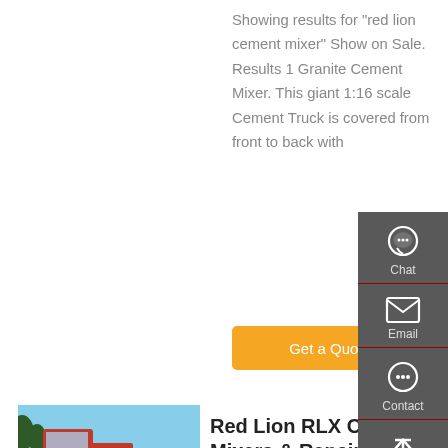Showing results for "red lion cement mixer" Show on Sale. Results 1 Granite Cement Mixer. This giant 1:16 scale Cement Truck is covered from front to back with
Get a Quote
[Figure (photo): Red truck / cement mixer vehicle parked in a lot with green trucks in background]
Red Lion RLX Cement Mixers & Repair Parts - Master
Denver, Colorado 80013 USA
Local: 303-699-7845 Toll Free:
[Figure (infographic): Side panel with Chat, Email, Contact, and Top navigation icons on dark gray background]